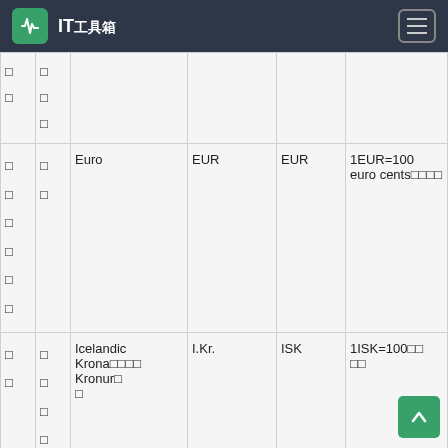IT工具箱
|  |  | Name | Abbreviation | Code | Info |
| --- | --- | --- | --- | --- | --- |
| □ | □ |  |  |  |  |
| □ | □ |  |  |  |  |
|  | □ |  |  |  |  |
| □ | □ | Euro | EUR | EUR | 1EUR=100 euro cents（欧元） |
| □ | □ |  |  |  |  |
| □ |  |  |  |  |  |
| □ |  |  |  |  |  |
| □ |  |  |  |  |  |
| □ |  |  |  |  |  |
| □ | □ | Icelandic Krona（冰岛）Kronur□ | I.Kr. | ISK | 1ISK=100□□□□ |
| □ | □ |  |  |  |  |
|  | □ |  |  |  |  |
|  | □ |  |  |  |  |